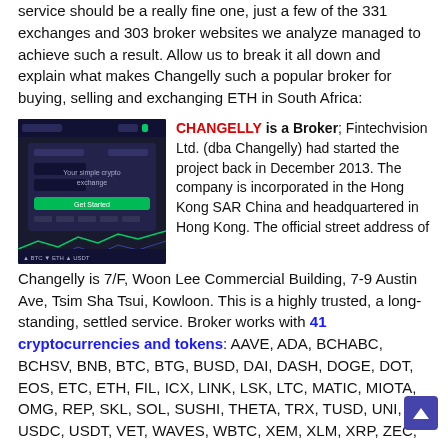service should be a really fine one, just a few of the 331 exchanges and 303 broker websites we analyze managed to achieve such a result. Allow us to break it all down and explain what makes Changelly such a popular broker for buying, selling and exchanging ETH in South Africa:
[Figure (screenshot): Screenshot of Changelly website showing dark themed crypto exchange interface with text 'Your simple crypto exchange']
CHANGELLY is a Broker; Fintechvision Ltd. (dba Changelly) had started the project back in December 2013. The company is incorporated in the Hong Kong SAR China and headquartered in Hong Kong. The official street address of Changelly is 7/F, Woon Lee Commercial Building, 7-9 Austin Ave, Tsim Sha Tsui, Kowloon. This is a highly trusted, a long-standing, settled service. Broker works with 41 cryptocurrencies and tokens: AAVE, ADA, BCHABC, BCHSV, BNB, BTC, BTG, BUSD, DAI, DASH, DOGE, DOT, EOS, ETC, ETH, FIL, ICX, LINK, LSK, LTC, MATIC, MIOTA, OMG, REP, SKL, SOL, SUSHI, THETA, TRX, TUSD, UNI, USDC, USDT, VET, WAVES, WBTC, XEM, XLM, XRP, ZEC, ZRX.
The customers are welcome to buy and sell coins and tokens with 42 national aka fiat currencies: AUD, BGN, BRL, CAD, CHF, CNY, COP, CZK, DKK, DOP, EGP, EUR, GBP, HKD, HRK, IDR, ILS, JOD, JPY, KES, KRW, KWD, LKR, MAD, MXN, MYR, NGN, NOK, NZD, OMR, PEN, PKR, PLN, RON, SEK, SGD, THB, TRY, TWD, USD, VND, ZAR. Totally 1 payment systems and banks are at your's disposal. Besides, we can swap the cryptos and